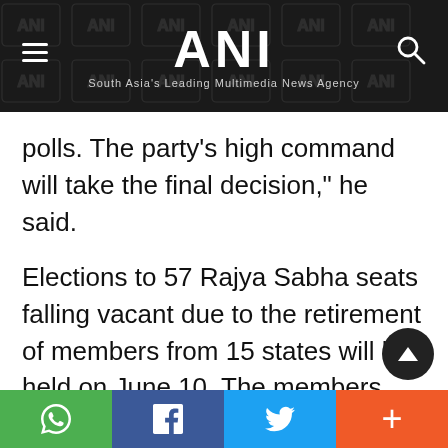ANI — South Asia's Leading Multimedia News Agency
polls. The party's high command will take the final decision," he said.
Elections to 57 Rajya Sabha seats falling vacant due to the retirement of members from 15 states will be held on June 10. The members are retiring on different dates between June 21 and August 1. Eleven seats are due to fall vacant from Uttar Pradesh this year, while six members each will retire fr…